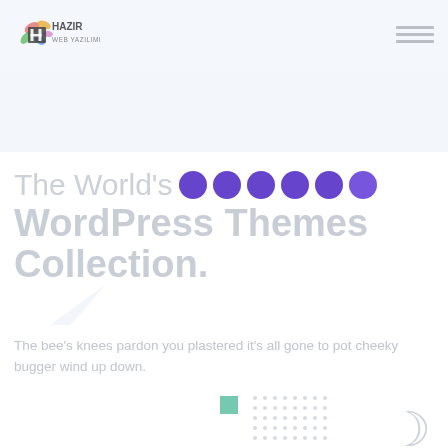[Figure (logo): Hazir Web Yazilimi logo with colorful bird/flower motif and text]
[Figure (other): Hamburger menu icon (three horizontal lines) in top right corner]
The World's Biggest WordPress Themes Collection.
The bee's knees pardon you plastered it's all gone to pot cheeky bugger wind up down.
[Figure (other): Bottom decorative elements: teal square, dot grid pattern, crescent moon icon]